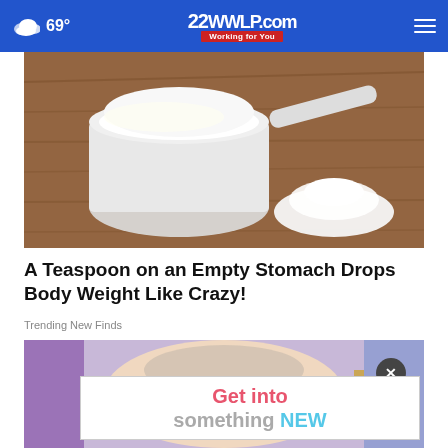69° | 22WWLP.com NEWS Working for You
[Figure (photo): Measuring cup filled with white powder (sugar or similar) on a wooden surface, with a small pile of the white powder beside it]
A Teaspoon on an Empty Stomach Drops Body Weight Like Crazy!
Trending New Finds
[Figure (photo): Person receiving a facial or skin treatment, with an advertisement overlay reading 'Get into something NEW']